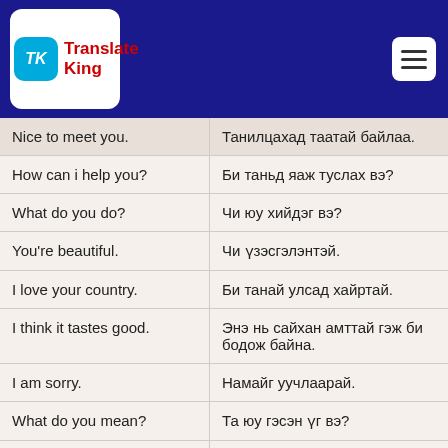[Figure (logo): Translate King app logo with blue header bar and hamburger menu]
| English | Mongolian |
| --- | --- |
| Nice to meet you. | Танилцахад таатай байлаа. |
| How can i help you? | Би таньд яаж туслах вэ? |
| What do you do? | Чи юу хийдэг вэ? |
| You're beautiful. | Чи үзэсгэлэнтэй. |
| I love your country. | Би танай улсад хайртай. |
| I think it tastes good. | Энэ нь сайхан амттай гэж би бодож байна. |
| I am sorry. | Намайг уучлаарай. |
| What do you mean? | Та юу гэсэн үг вэ? |
| Are you free tomorrow? | Та маргааш чөлөөтэй юу? |